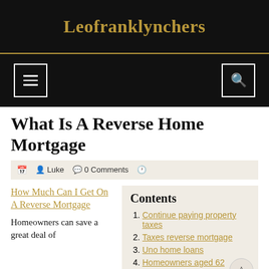Leofranklynchers
What Is A Reverse Home Mortgage
Luke  0 Comments
How Much Can I Get On A Reverse Mortgage
Homeowners can save a great deal of
Contents
1. Continue paying property taxes
2. Taxes reverse mortgage
3. Uno home loans
4. Homeowners aged 62 reverse